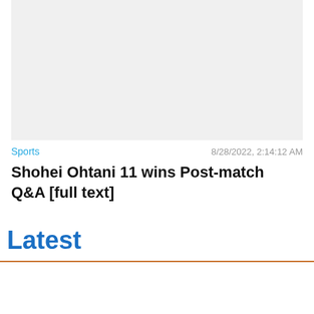[Figure (photo): Gray placeholder image area for a news article thumbnail]
Sports   8/28/2022, 2:14:12 AM
Shohei Ohtani 11 wins Post-match Q&amp;A [full text]
Latest
[Figure (screenshot): Advertisement close bar with Close X button and an ad showing in-store shopping, curbside pickup, delivery checkboxes with a blue arrow navigation icon]